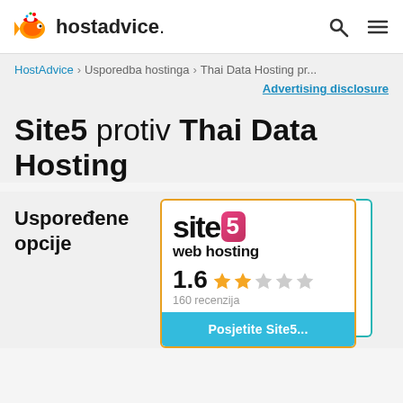[Figure (logo): HostAdvice logo with goldfish mascot icon and bold wordmark]
hostadvice.
HostAdvice > Usporedba hostinga > Thai Data Hosting pr...
Advertising disclosure
Site5 protiv Thai Data Hosting
Uspoređene opcije
[Figure (logo): Site5 web hosting logo with pink/red number 5 badge, rating 1.6 stars, 160 recenzija]